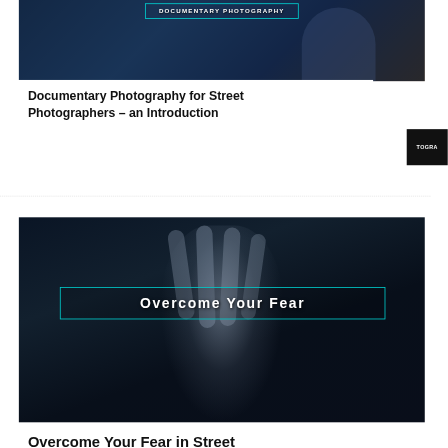[Figure (photo): Dark blue documentary photography banner image with a person in uniform, featuring text 'DOCUMENTARY PHOTOGRAPHY' in a teal-bordered box]
Documentary Photography for Street Photographers – an Introduction
[Figure (photo): Dark moody image of a hand raised in a stop gesture with text 'Overcome Your Fear' in a teal-bordered box]
Overcome Your Fear in Street